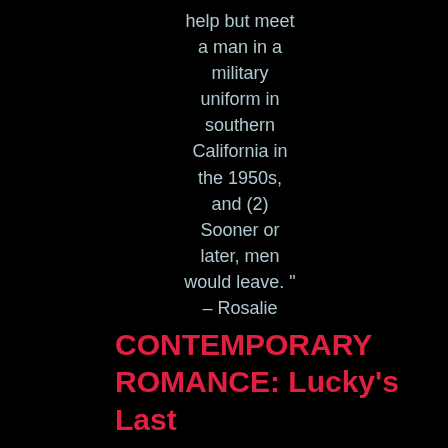help but meet a man in a military uniform in southern California in the 1950s, and (2) Sooner or later, men would leave. " – Rosalie
CONTEMPORARY ROMANCE: Lucky's Last